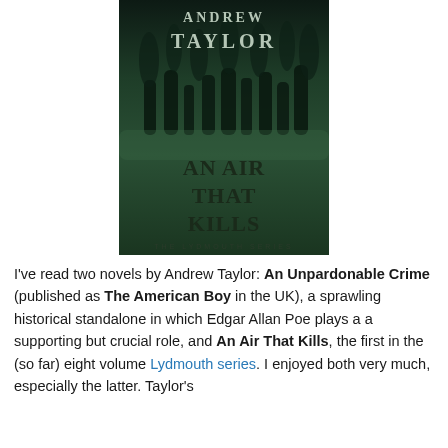[Figure (photo): Book cover of 'An Air That Kills' by Andrew Taylor. Dark green/black moody cover showing gravestones and trees in background. Title 'AN AIR THAT KILLS' in large text, author name 'ANDREW TAYLOR' at top, subtitle 'THE LYDMOUTH SERIES' at bottom.]
I've read two novels by Andrew Taylor: An Unpardonable Crime (published as The American Boy in the UK), a sprawling historical standalone in which Edgar Allan Poe plays a a supporting but crucial role, and An Air That Kills, the first in the (so far) eight volume Lydmouth series. I enjoyed both very much, especially the latter. Taylor's